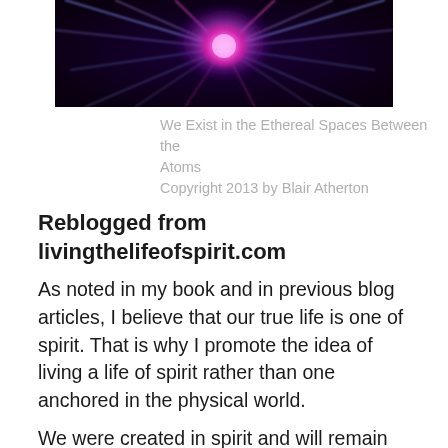[Figure (photo): A glowing plasma or neural network image with pink and purple energy streams on a dark background, centered at top of page]
We Exist in the Ethereal Spaces Between the Atoms
Copyright 2013 by Blair Atherton
Reblogged from livingthelifeofspirit.com
As noted in my book and in previous blog articles, I believe that our true life is one of spirit. That is why I promote the idea of living a life of spirit rather than one anchored in the physical world.
We were created in spirit and will remain so forever more. Our spiritual existence does not stop or go into abeyance during the brief periods when we are clothed with a physical body. We may lose touch with our spirit-self from